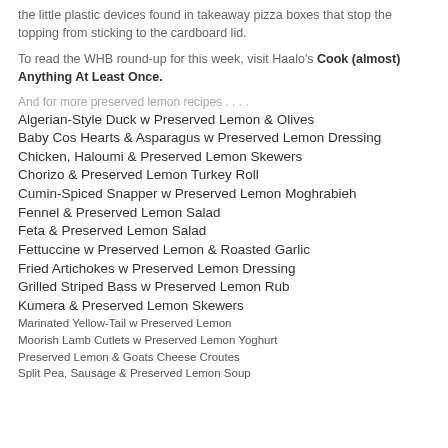the little plastic devices found in takeaway pizza boxes that stop the topping from sticking to the cardboard lid.
To read the WHB round-up for this week, visit Haalo's Cook (almost) Anything At Least Once.
And for more preserved lemon recipes . . . .
Algerian-Style Duck w Preserved Lemon & Olives
Baby Cos Hearts & Asparagus w Preserved Lemon Dressing
Chicken, Haloumi & Preserved Lemon Skewers
Chorizo & Preserved Lemon Turkey Roll
Cumin-Spiced Snapper w Preserved Lemon Moghrabieh
Fennel & Preserved Lemon Salad
Feta & Preserved Lemon Salad
Fettuccine w Preserved Lemon & Roasted Garlic
Fried Artichokes w Preserved Lemon Dressing
Grilled Striped Bass w Preserved Lemon Rub
Kumera & Preserved Lemon Skewers
Marinated Yellow-Tail w Preserved Lemon
Moorish Lamb Cutlets w Preserved Lemon Yoghurt
Preserved Lemon & Goats Cheese Croutes
Split Pea, Sausage & Preserved Lemon Soup